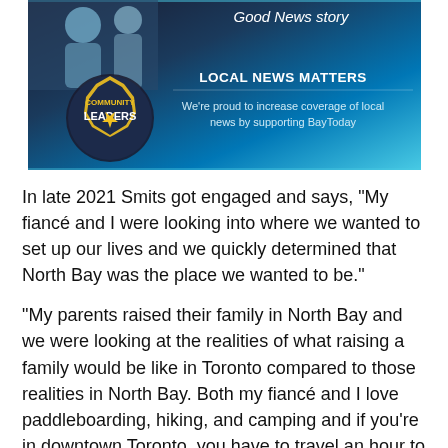[Figure (screenshot): Community Leaders banner advertisement for BayToday. Dark blue background with teal gradient. Shows 'Good News story' text at top, Community Leaders badge logo on left, and 'LOCAL NEWS MATTERS - We're proud to increase coverage of local news by supporting BayToday' text on right.]
In late 2021 Smits got engaged and says, “My fiancé and I were looking into where we wanted to set up our lives and we quickly determined that North Bay was the place we wanted to be.”
“My parents raised their family in North Bay and we were looking at the realities of what raising a family would be like in Toronto compared to those realities in North Bay. Both my fiancé and I love paddleboarding, hiking, and camping and if you’re in downtown Toronto, you have to travel an hour to do any of that, and here it’s right outside your door.”
But they were going to need jobs in North Bay and Smits says he wanted to determine what sort of role